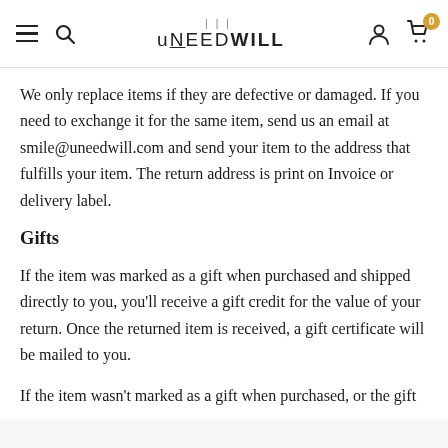UNEEDWILL
We only replace items if they are defective or damaged. If you need to exchange it for the same item, send us an email at smile@uneedwill.com and send your item to the address that fulfills your item. The return address is print on Invoice or delivery label.
Gifts
If the item was marked as a gift when purchased and shipped directly to you, you'll receive a gift credit for the value of your return. Once the returned item is received, a gift certificate will be mailed to you.
If the item wasn't marked as a gift when purchased, or the gift